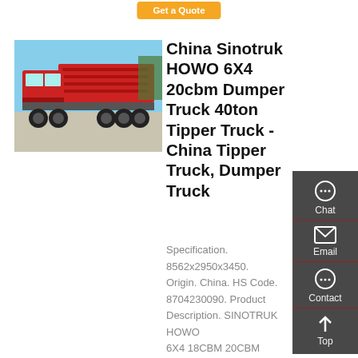Get a Quote
[Figure (photo): Red Sinotruk HOWO 6X4 dumper/tipper truck parked outdoors on a clear day]
China Sinotruk HOWO 6X4 20cbm Dumper Truck 40ton Tipper Truck - China Tipper Truck, Dumper Truck
Specification. 8562x2950x3450. Origin. China. HS Code. 8704230090. Product Description. SINOTRUK HOWO 6X4 18CBM 20CBM Dumper Truck 40Ton Tipper Truck. SINOTRUK HOWO 6X4 371HP